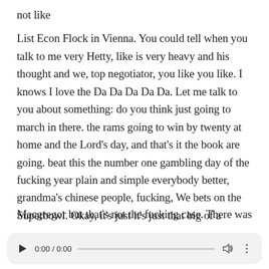not like
List Econ Flock in Vienna. You could tell when you talk to me very Hetty, like is very heavy and his thought and we, top negotiator, you like you like. I knows I love the Da Da Da Da Da. Let me talk to you about something: do you think just going to march in there. the rams going to win by twenty at home and the Lord's day, and that's it the book are going. beat this the number one gambling day of the fucking year plain and simple everybody better, grandma's chinese people, fucking, We bets on the Superbowl. Okay, it's just it's just that big of a fucking day, there's nothing to counterbalance it. So if that like a big! You have see Macgregor racist somebody, the super bowl. Say: okay, cable will lose the game, we'll get our money back on
Macgregor but that's not the fucking case. There was
[Figure (other): Audio player bar showing play button, 0:00 / 0:00 timestamp, progress bar, volume icon, and more options icon]